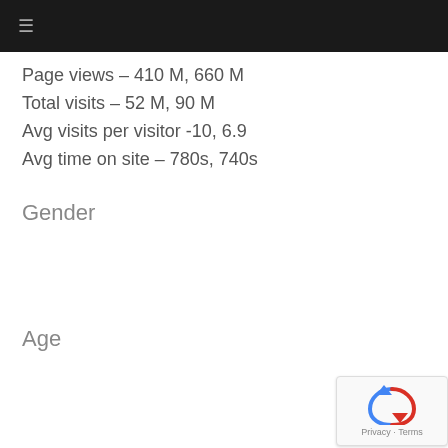≡
Page views – 410 M, 660 M
Total visits – 52 M, 90 M
Avg visits per visitor -10, 6.9
Avg time on site – 780s, 740s
Gender
Age
Household Income